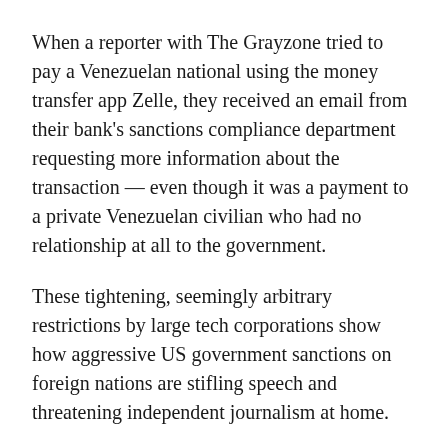When a reporter with The Grayzone tried to pay a Venezuelan national using the money transfer app Zelle, they received an email from their bank's sanctions compliance department requesting more information about the transaction — even though it was a payment to a private Venezuelan civilian who had no relationship at all to the government.
These tightening, seemingly arbitrary restrictions by large tech corporations show how aggressive US government sanctions on foreign nations are stifling speech and threatening independent journalism at home.